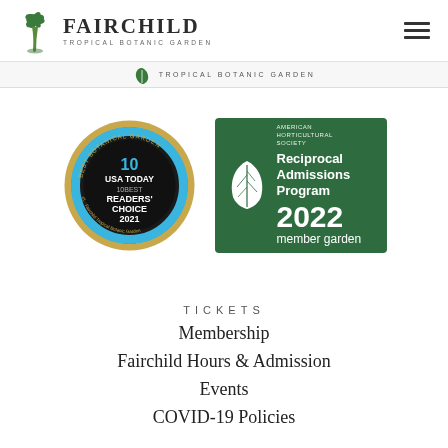Fairchild Tropical Botanic Garden
[Figure (logo): Fairchild Tropical Botanic Garden logo with palm tree icon and text]
[Figure (logo): USA Today 10Best Readers Choice 2021 Best Botanical Garden badge for Fairchild Tropical Botanic Garden]
[Figure (logo): American Horticultural Society Reciprocal Admissions Program 2022 member garden badge]
TICKETS
Membership
Fairchild Hours & Admission
Events
COVID-19 Policies